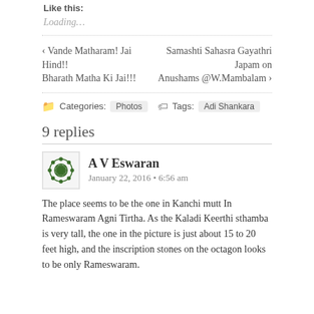Like this:
Loading...
‹ Vande Matharam! Jai Hind!! Bharath Matha Ki Jai!!!
Samashti Sahasra Gayathri Japam on Anushams @W.Mambalam ›
Categories: Photos   Tags: Adi Shankara
9 replies
A V Eswaran
January 22, 2016 • 6:56 am
The place seems to be the one in Kanchi mutt In Rameswaram Agni Tirtha. As the Kaladi Keerthi sthamba is very tall, the one in the picture is just about 15 to 20 feet high, and the inscription stones on the octagon looks to be only Rameswaram.